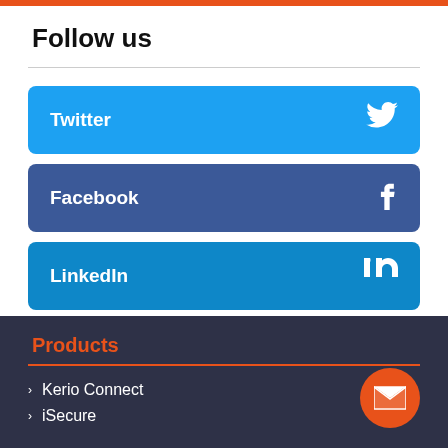Follow us
Twitter
Facebook
LinkedIn
Products
Kerio Connect
iSecure